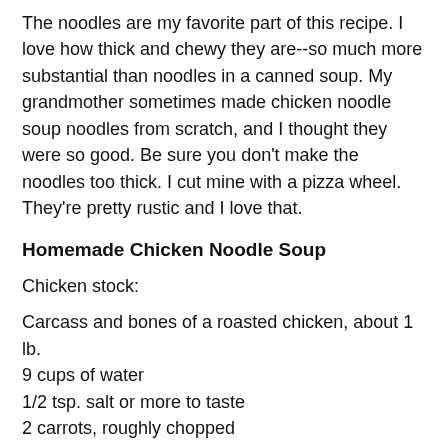The noodles are my favorite part of this recipe. I love how thick and chewy they are--so much more substantial than noodles in a canned soup. My grandmother sometimes made chicken noodle soup noodles from scratch, and I thought they were so good. Be sure you don't make the noodles too thick. I cut mine with a pizza wheel. They're pretty rustic and I love that.
Homemade Chicken Noodle Soup
Chicken stock:
Carcass and bones of a roasted chicken, about 1 lb.
9 cups of water
1/2 tsp. salt or more to taste
2 carrots, roughly chopped
2 celery stalks, roughly chopped
2 onions, peeled and quartered
1/2 fennel bulb, roughly chopped (optional)
2 bay leaves
Clump of thyme sprigs
1/2 tsp. black peppercorns